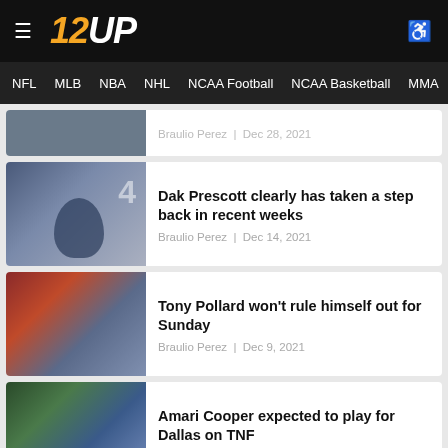12UP — Navigation header with menu icon, logo, and accessibility icon
NFL | MLB | NBA | NHL | NCAA Football | NCAA Basketball | MMA | Boxing
Braulio Perez | Dec 28, 2021
Dak Prescott clearly has taken a step back in recent weeks — Braulio Perez | Dec 14, 2021
Tony Pollard won't rule himself out for Sunday — Braulio Perez | Dec 9, 2021
Amari Cooper expected to play for Dallas on TNF — Braulio Perez | Dec 1, 2021
Ezekiel Elliott expected to play on Thursday night